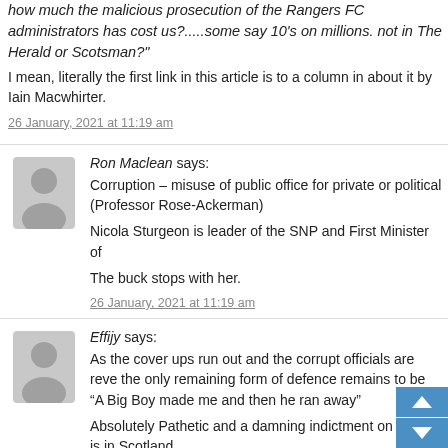how much the malicious prosecution of the Rangers FC administrators has cost us?.....some say 10's on millions. not in The Herald or Scotsman?"
I mean, literally the first link in this article is to a column in about it by Iain Macwhirter.
26 January, 2021 at 11:19 am
Ron Maclean says:
Corruption – misuse of public office for private or political (Professor Rose-Ackerman)
Nicola Sturgeon is leader of the SNP and First Minister of
The buck stops with her.
26 January, 2021 at 11:19 am
Effijy says:
As the cover ups run out and the corrupt officials are reve the only remaining form of defence remains to be “A Big Boy made me and then he ran away”
Absolutely Pathetic and a damning indictment on justice is in Scotland.